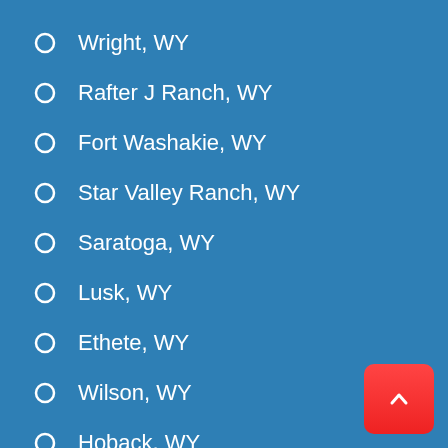Wright, WY
Rafter J Ranch, WY
Fort Washakie, WY
Star Valley Ranch, WY
Saratoga, WY
Lusk, WY
Ethete, WY
Wilson, WY
Hoback, WY
Moose Wilson Road, WY